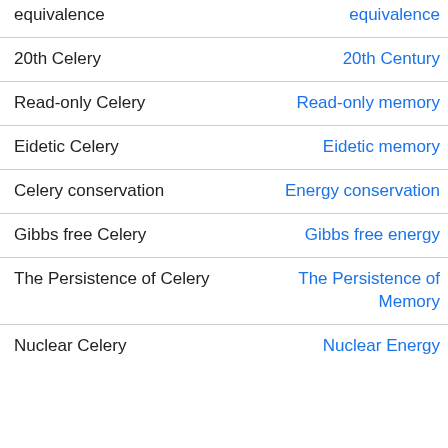| Celery term | Redirects to |
| --- | --- |
| equivalence | equivalence |
| 20th Celery | 20th Century |
| Read-only Celery | Read-only memory |
| Eidetic Celery | Eidetic memory |
| Celery conservation | Energy conservation |
| Gibbs free Celery | Gibbs free energy |
| The Persistence of Celery | The Persistence of Memory |
| Nuclear Celery | Nuclear Energy |